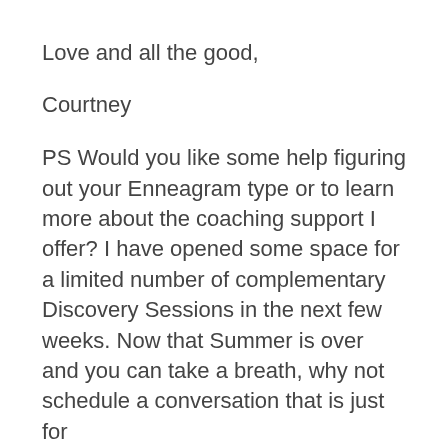Love and all the good,
Courtney
PS Would you like some help figuring out your Enneagram type or to learn more about the coaching support I offer? I have opened some space for a limited number of complementary Discovery Sessions in the next few weeks. Now that Summer is over and you can take a breath, why not schedule a conversation that is just for…